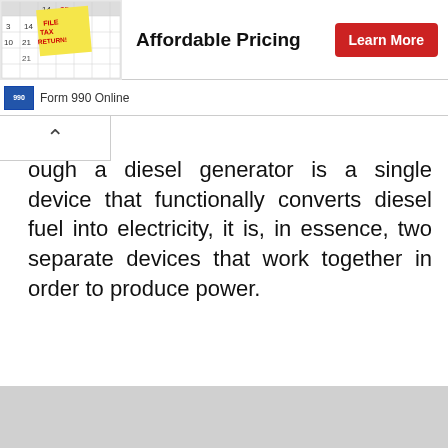[Figure (screenshot): Advertisement banner showing a calendar image with sticky note saying 'FILE TAX RETURN', with bold text 'Affordable Pricing' and a red 'Learn More' button]
[Figure (logo): Form 990 Online icon and text: small blue square labeled '990' followed by text 'Form 990 Online']
ough a diesel generator is a single device that functionally converts diesel fuel into electricity, it is, in essence, two separate devices that work together in order to produce power.